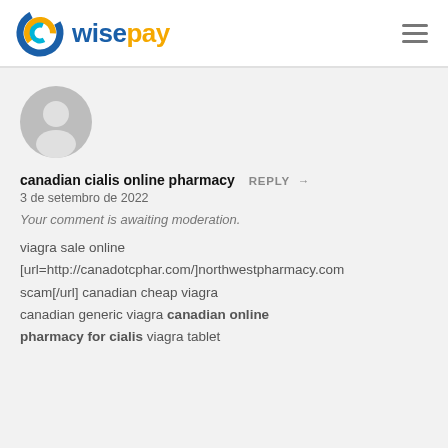wisepay
[Figure (illustration): Generic user avatar — grey circle with white silhouette of a person]
canadian cialis online pharmacy
3 de setembro de 2022
Your comment is awaiting moderation.
viagra sale online [url=http://canadotcphar.com/]northwestpharmacy.com scam[/url] canadian cheap viagra canadian generic viagra canadian online pharmacy for cialis viagra tablet